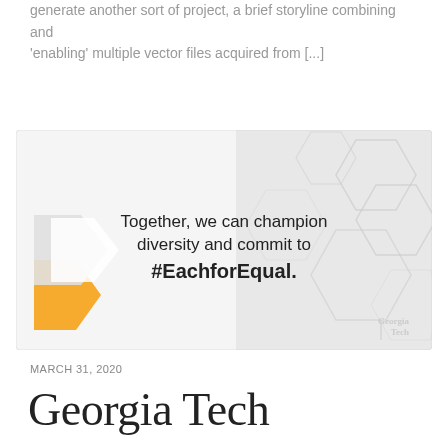generate another sort of project, a brief storyline combining and 'enabling' multiple vector files acquired from [...]
[Figure (illustration): Georgia Tech branded image with hexagonal pattern background in grey and white tones. Left side has yellow/gold arrow chevron shapes. Center text reads: 'Together, we can champion diversity and commit to #EachforEqual.' Georgia Tech logo in bottom right corner.]
MARCH 31, 2020
Georgia Tech